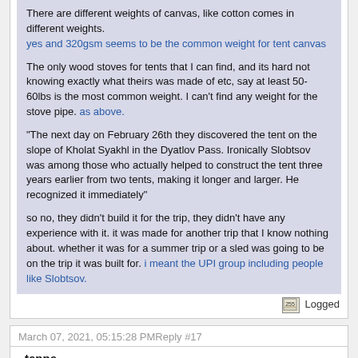There are different weights of canvas, like cotton comes in different weights. yes and 320gsm seems to be the common weight for tent canvas
The only wood stoves for tents that I can find, and its hard not knowing exactly what theirs was made of etc, say at least 50-60lbs is the most common weight. I can't find any weight for the stove pipe. as above.
"The next day on February 26th they discovered the tent on the slope of Kholat Syakhl in the Dyatlov Pass. Ironically Slobtsov was among those who actually helped to construct the tent three years earlier from two tents, making it longer and larger. He recognized it immediately"
so no, they didn't build it for the trip, they didn't have any experience with it. it was made for another trip that I know nothing about. whether it was for a summer trip or a sled was going to be on the trip it was built for. i meant the UPI group including people like Slobtsov.
Logged
March 07, 2021, 05:15:28 PM Reply #17
tenne
Guest
Re: My theory
I am horrified that you are so arrogant as to dismiss the real life experiences of people who lives and living depended on them being